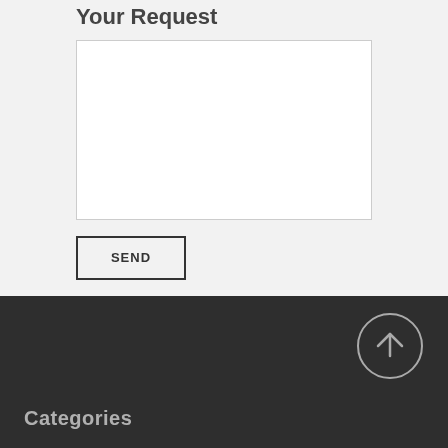Your Request
[Figure (screenshot): Empty white textarea input box for user request submission]
SEND
Categories
[Figure (illustration): Circular scroll-to-top arrow button in light grey on dark background]